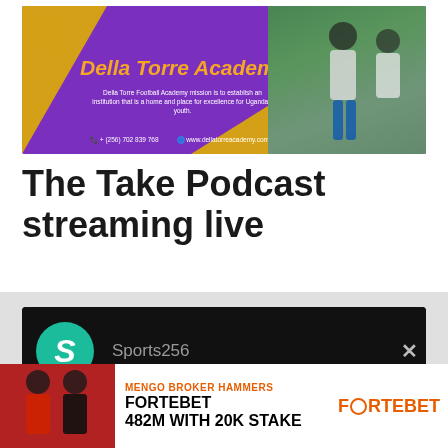[Figure (illustration): Della Torre Academy banner ad with purple background, gold diagonal shapes, academy logo, title in orange italic, description text, contact info, and football players photo on right]
The Take Podcast streaming live
[Figure (screenshot): Sports256 YouTube/video channel thumbnail on dark background with teal circular logo showing letter S]
[Figure (illustration): Fortebet advertisement banner: MENGO BROKER HAMMERS FORTEBET 482M WITH 20K STAKE, with two people in red and black jackets on left and Fortebet logo on right]